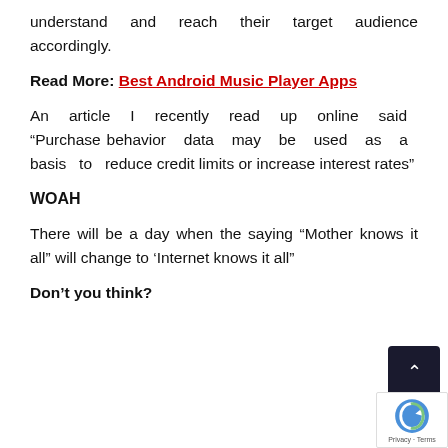understand and reach their target audience accordingly.
Read More: Best Android Music Player Apps
An article I recently read up online said “Purchase behavior data may be used as a basis to reduce credit limits or increase interest rates”
WOAH
There will be a day when the saying “Mother knows it all” will change to ‘Internet knows it all”
Don’t you think?